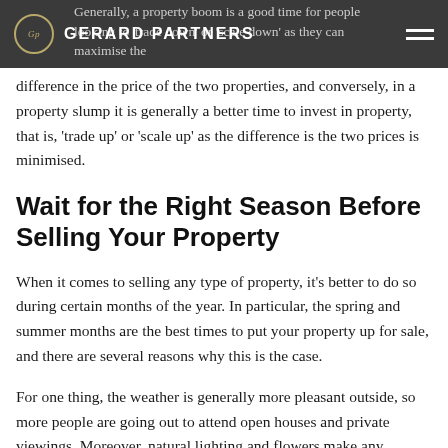Gp GERARD PARTNERS
Generally, a property boom is a good time for people looking to 'trade down' or 'scale down' as they can maximise the difference in the price of the two properties, and conversely, in a property slump it is generally a better time to invest in property, that is, 'trade up' or 'scale up' as the difference is the two prices is minimised.
Wait for the Right Season Before Selling Your Property
When it comes to selling any type of property, it's better to do so during certain months of the year. In particular, the spring and summer months are the best times to put your property up for sale, and there are several reasons why this is the case.
For one thing, the weather is generally more pleasant outside, so more people are going out to attend open houses and private viewings. Moreover, natural lighting and flowers make any property look better. The spring and summer months are also when people receive their tax returns, meaning they usually have more funds to spend on a house. Lastly, families find it easier to buy a house and relocate during these months as the